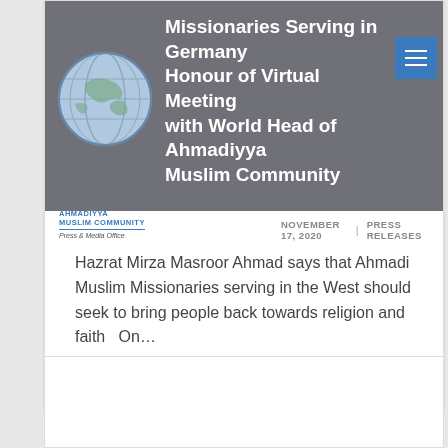Missionaries Serving in Germany Honour of Virtual Meeting with World Head of Ahmadiyya Muslim Community
[Figure (logo): Ahmadiyya Muslim Community globe logo — blue and white globe illustration]
NOVEMBER 17, 2020  |  PRESS RELEASES
[Figure (logo): Ahmadiyya Muslim Community — Press & Media Office logo]
Hazrat Mirza Masroor Ahmad says that Ahmadi Muslim Missionaries serving in the West should seek to bring people back towards religion and faith   On...
CONTINUE READING →